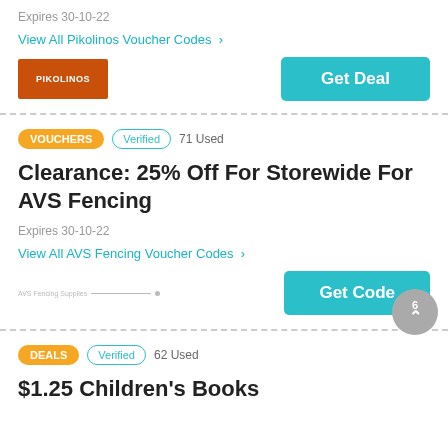Expires 30-10-22
View All Pikolinos Voucher Codes >
[Figure (logo): Pikolinos logo - orange/brown background with white text PIKOLINOS]
Get Deal
VOUCHERS  Verified  71 Used
Clearance: 25% Off For Storewide For AVS Fencing
Expires 30-10-22
View All AVS Fencing Voucher Codes >
[Figure (logo): AVS Fencing small logo placeholder with line]
Get Code
DEALS  Verified  62 Used
$1.25 Children's Books